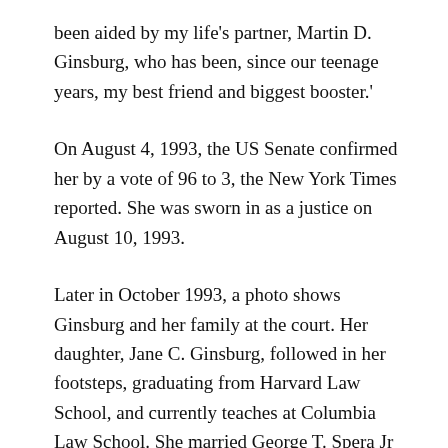been aided by my life's partner, Martin D. Ginsburg, who has been, since our teenage years, my best friend and biggest booster.'
On August 4, 1993, the US Senate confirmed her by a vote of 96 to 3, the New York Times reported. She was sworn in as a justice on August 10, 1993.
Later in October 1993, a photo shows Ginsburg and her family at the court. Her daughter, Jane C. Ginsburg, followed in her footsteps, graduating from Harvard Law School, and currently teaches at Columbia Law School. She married George T. Spera Jr and they have two children together: Paul Spera, who is an actor, and Clara Spera, who is also a lawyer and clerked for the US District of the Southern District of New York.